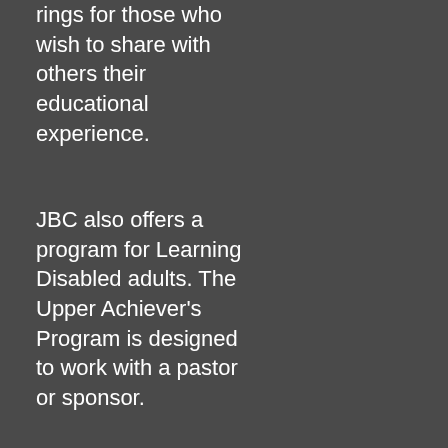have class rings for those who wish to share with others their educational experience.
JBC also offers a program for Learning Disabled adults. The Upper Achiever's Program is designed to work with a pastor or sponsor.